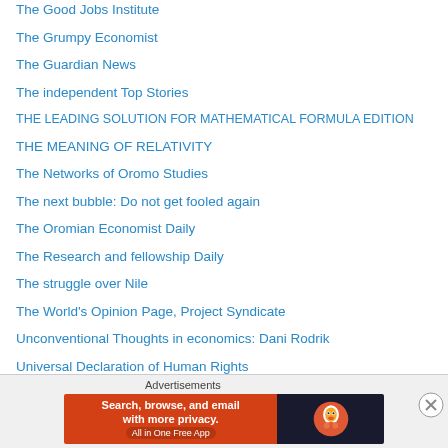The Good Jobs Institute
The Grumpy Economist
The Guardian News
The independent Top Stories
THE LEADING SOLUTION FOR MATHEMATICAL FORMULA EDITION
THE MEANING OF RELATIVITY
The Networks of Oromo Studies
The next bubble: Do not get fooled again
The Oromian Economist Daily
The Research and fellowship Daily
The struggle over Nile
The World's Opinion Page, Project Syndicate
Unconventional Thoughts in economics: Dani Rodrik
Universal Declaration of Human Rights
Untold Stories
Walaloo Lataa Qana'ii Aagaa
Water Integrity network
[Figure (screenshot): DuckDuckGo advertisement banner: orange section with text 'Search, browse, and email with more privacy. All in One Free App' and dark section with DuckDuckGo duck logo]